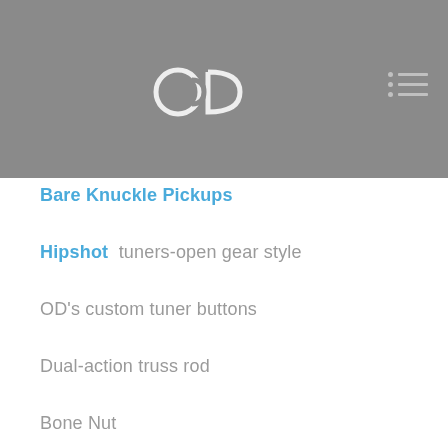OD Guitars header with logo and navigation
Bare Knuckle Pickups
Hipshot tuners-open gear style
OD's custom tuner buttons
Dual-action truss rod
Bone Nut
Frets: Fret blind slots
Constant communication with me